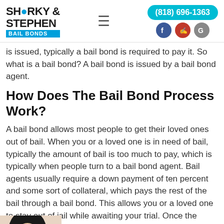[Figure (logo): Sharky & Stephen Bail Bonds logo with blue shark icon and BAIL BONDS bar]
[Figure (infographic): Phone button (818) 696-1363 in cyan pill shape, social icons: Facebook (blue circle), Yelp (red circle), Google (gray circle)]
is issued, typically a bail bond is required to pay it. So what is a bail bond? A bail bond is issued by a bail bond agent.
How Does The Bail Bond Process Work?
A bail bond allows most people to get their loved ones out of bail. When you or a loved one is in need of bail, typically the amount of bail is too much to pay, which is typically when people turn to a bail bond agent. Bail agents usually require a down payment of ten percent and some sort of collateral, which pays the rest of the bail through a bail bond. This allows you or a loved one to stay out of jail while awaiting your trial. Once the defendant shows up for court and the trial has concluded, the judge gives the bail back to the defendant and the bail bond agent. The bail bond agent keeps the ten percent you gave them in exchange for arranging the ninety-percent needed to
[Figure (photo): Woman with dark hair, partial view, bottom-left corner]
[Figure (infographic): NEED BAIL? CALL ME NOW! with phone number (818) 696-1363 on dark blue banner with cyan phone icon]